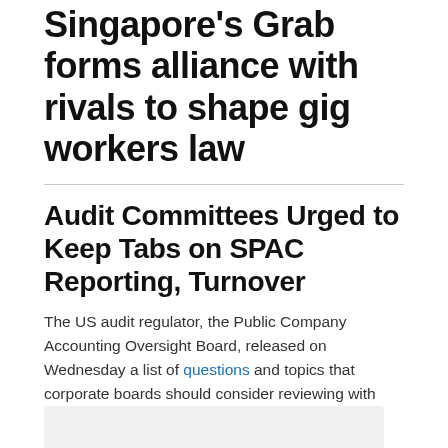Singapore's Grab forms alliance with rivals to shape gig workers law
Audit Committees Urged to Keep Tabs on SPAC Reporting, Turnover
The US audit regulator, the Public Company Accounting Oversight Board, released on Wednesday a list of questions and topics that corporate boards should consider reviewing with their auditor.
...READ MORE